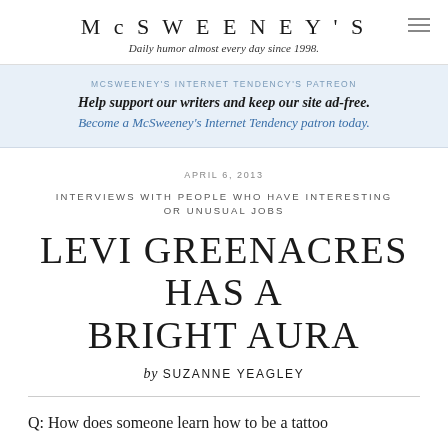McSWEENEY'S
Daily humor almost every day since 1998.
MCSWEENEY'S INTERNET TENDENCY'S PATREON
Help support our writers and keep our site ad-free.
Become a McSweeney's Internet Tendency patron today.
APRIL 6, 2013
INTERVIEWS WITH PEOPLE WHO HAVE INTERESTING OR UNUSUAL JOBS
LEVI GREENACRES HAS A BRIGHT AURA
by SUZANNE YEAGLEY
Q: How does someone learn how to be a tattoo